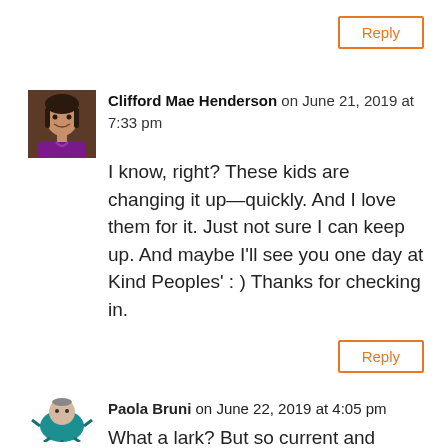Reply
[Figure (photo): Avatar photo of Clifford Mae Henderson, a woman with dark hair and a purple scarf]
Clifford Mae Henderson on June 21, 2019 at 7:33 pm
I know, right? These kids are changing it up—quickly. And I love them for it. Just not sure I can keep up. And maybe I'll see you one day at Kind Peoples' : ) Thanks for checking in.
Reply
[Figure (illustration): Avatar illustration of Paola Bruni, a cartoon figure with teal coloring]
Paola Bruni on June 22, 2019 at 4:05 pm
What a lark? But so current and lovely. I didn't know "pan" or "zie"